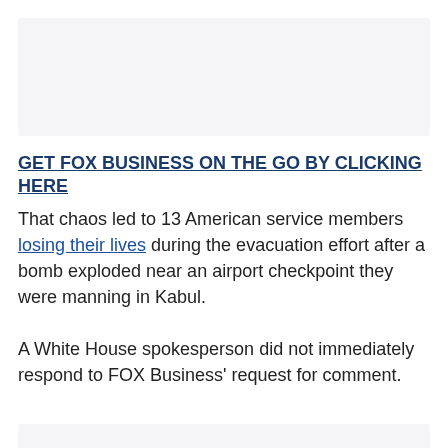[Figure (other): Advertisement placeholder box (light gray background)]
GET FOX BUSINESS ON THE GO BY CLICKING HERE
That chaos led to 13 American service members losing their lives during the evacuation effort after a bomb exploded near an airport checkpoint they were manning in Kabul.
A White House spokesperson did not immediately respond to FOX Business' request for comment.
[Figure (other): Advertisement placeholder box (light gray background)]